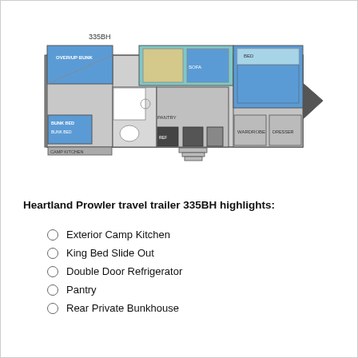[Figure (schematic): Floor plan diagram of Heartland Prowler travel trailer 335BH showing layout with rear bunkhouse, king bed slide out, bathroom, kitchen, and exterior camp kitchen. Label '335BH' shown above the diagram.]
Heartland Prowler travel trailer 335BH highlights:
Exterior Camp Kitchen
King Bed Slide Out
Double Door Refrigerator
Pantry
Rear Private Bunkhouse